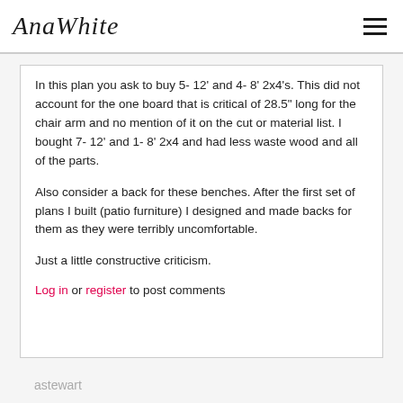AnaWhite
In this plan you ask to buy 5- 12' and 4- 8' 2x4's. This did not account for the one board that is critical of 28.5" long for the chair arm and no mention of it on the cut or material list. I bought 7- 12' and 1- 8' 2x4 and had less waste wood and all of the parts.
Also consider a back for these benches. After the first set of plans I built (patio furniture) I designed and made backs for them as they were terribly uncomfortable.
Just a little constructive criticism.
Log in or register to post comments
astewart